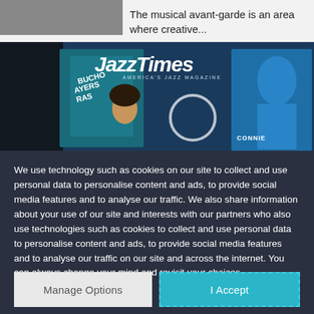[Figure (photo): Partial thumbnail image at top left, showing a person, cropped]
The musical avant-garde is an area where creative...
[Figure (screenshot): JazzTimes magazine website banner showing the JazzTimes logo and magazine covers including one with 'CONNIE' text visible]
We use technology such as cookies on our site to collect and use personal data to personalise content and ads, to provide social media features and to analyse our traffic. We also share information about your use of our site and interests with our partners who also use technologies such as cookies to collect and use personal data to personalise content and ads, to provide social media features and to analyse our traffic on our site and across the internet. You can always change your mind and revisit your choices.